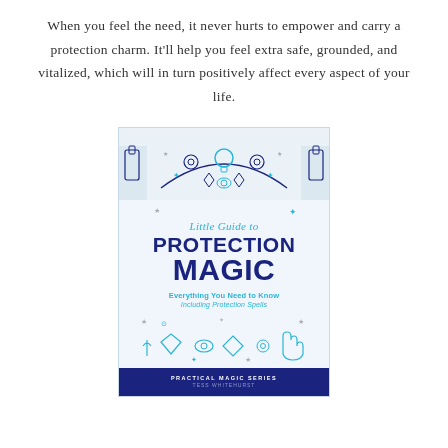When you feel the need, it never hurts to empower and carry a protection charm. It'll help you feel extra safe, grounded, and vitalized, which will in turn positively affect every aspect of your life.
[Figure (illustration): Book cover for 'Little Guide to Protection Magic' by Tess Whitehurst, part of the Practical Magic Series. Light blue cover with dark blue decorative icons (crystals, evil eye, mirror, hand/hamsa, candles, flowers) at top and bottom. Title in bold dark navy text, subtitle 'Everything You Need to Know Including Protection Spells' in teal, bottom band in dark navy with series and author name.]